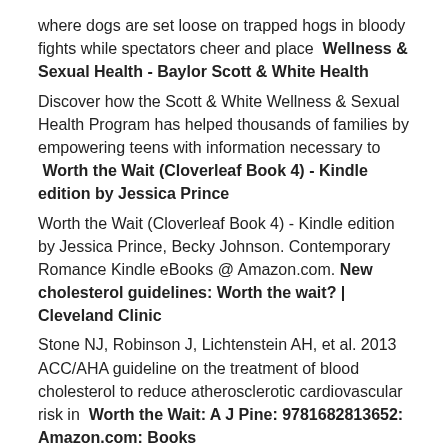where dogs are set loose on trapped hogs in bloody fights while spectators cheer and place  Wellness & Sexual Health - Baylor Scott & White Health
Discover how the Scott & White Wellness & Sexual Health Program has helped thousands of families by empowering teens with information necessary to  Worth the Wait (Cloverleaf Book 4) - Kindle edition by Jessica Prince
Worth the Wait (Cloverleaf Book 4) - Kindle edition by Jessica Prince, Becky Johnson. Contemporary Romance Kindle eBooks @ Amazon.com.  New cholesterol guidelines: Worth the wait? | Cleveland Clinic
Stone NJ, Robinson J, Lichtenstein AH, et al. 2013 ACC/AHA guideline on the treatment of blood cholesterol to reduce atherosclerotic cardiovascular risk in  Worth the Wait: A J Pine: 9781682813652: Amazon.com: Books
Worth the Wait [A J Pine] on Amazon.com. *FREE* shipping on qualifying offers. I’ m all about pleasure A good pint of ale.
Amazon.com: Worth The Wait: Music